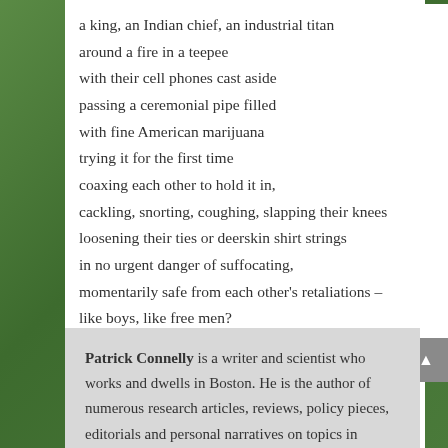a king, an Indian chief, an industrial titan
around a fire in a teepee
with their cell phones cast aside
passing a ceremonial pipe filled
with fine American marijuana
trying it for the first time
coaxing each other to hold it in,
cackling, snorting, coughing, slapping their knees
loosening their ties or deerskin shirt strings
in no urgent danger of suffocating,
momentarily safe from each other's retaliations –
like boys, like free men?
Patrick Connelly is a writer and scientist who works and dwells in Boston. He is the author of numerous research articles, reviews, policy pieces, editorials and personal narratives on topics in science, medicine, and society.